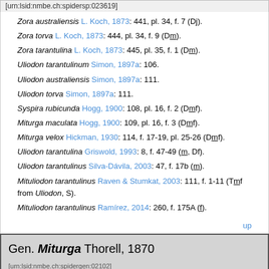[urn:lsid:nmbe.ch:spidersp:023619]
Zora australiensis L. Koch, 1873: 441, pl. 34, f. 7 (Dj).
Zora torva L. Koch, 1873: 444, pl. 34, f. 9 (Dm).
Zora tarantulina L. Koch, 1873: 445, pl. 35, f. 1 (Dm).
Uliodon tarantulinum Simon, 1897a: 106.
Uliodon australiensis Simon, 1897a: 111.
Uliodon torva Simon, 1897a: 111.
Syspira rubicunda Hogg, 1900: 108, pl. 16, f. 2 (Dmf).
Miturga maculata Hogg, 1900: 109, pl. 16, f. 3 (Dmf).
Miturga velox Hickman, 1930: 114, f. 17-19, pl. 25-26 (Dmf).
Uliodon tarantulina Griswold, 1993: 8, f. 47-49 (m, Df).
Uliodon tarantulinus Silva-Dávila, 2003: 47, f. 17b (m).
Mituliodon tarantulinus Raven & Stumkat, 2003: 111, f. 1-11 (Tmf from Uliodon, S).
Mituliodon tarantulinus Ramírez, 2014: 260, f. 175A (f).
up
Gen. Miturga Thorell, 1870 [urn:lsid:nmbe.ch:spidergen:02102]
Detail